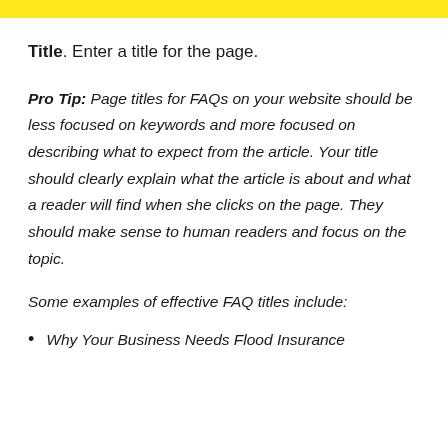[highlighted header bar - partially visible]
Title. Enter a title for the page.
Pro Tip: Page titles for FAQs on your website should be less focused on keywords and more focused on describing what to expect from the article. Your title should clearly explain what the article is about and what a reader will find when she clicks on the page. They should make sense to human readers and focus on the topic.
Some examples of effective FAQ titles include:
Why Your Business Needs Flood Insurance